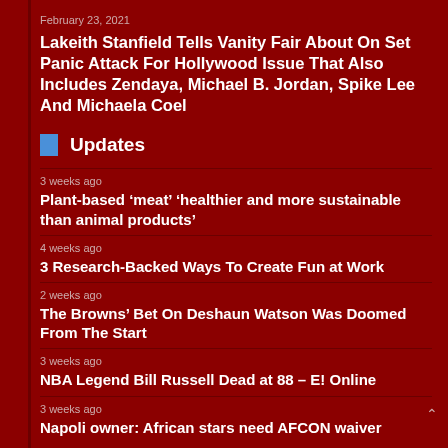February 23, 2021
Lakeith Stanfield Tells Vanity Fair About On Set Panic Attack For Hollywood Issue That Also Includes Zendaya, Michael B. Jordan, Spike Lee And Michaela Coel
Updates
3 weeks ago
Plant-based ‘meat’ ‘healthier and more sustainable than animal products’
4 weeks ago
3 Research-Backed Ways To Create Fun at Work
2 weeks ago
The Browns’ Bet On Deshaun Watson Was Doomed From The Start
3 weeks ago
NBA Legend Bill Russell Dead at 88 – E! Online
3 weeks ago
Napoli owner: African stars need AFCON waiver